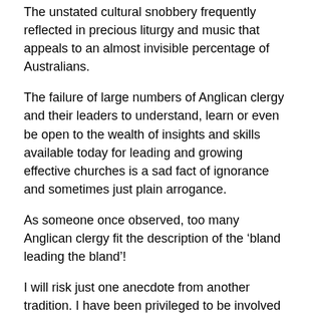The unstated cultural snobbery frequently reflected in precious liturgy and music that appeals to an almost invisible percentage of Australians.
The failure of large numbers of Anglican clergy and their leaders to understand, learn or even be open to the wealth of insights and skills available today for leading and growing effective churches is a sad fact of ignorance and sometimes just plain arrogance.
As someone once observed, too many Anglican clergy fit the description of the ‘bland leading the bland’!
I will risk just one anecdote from another tradition. I have been privileged to be involved in a number of consultations and training events with the Salvation Army. I remember one corps where they were involved in a knock down drag out over the wearing of bonnets in the choir!